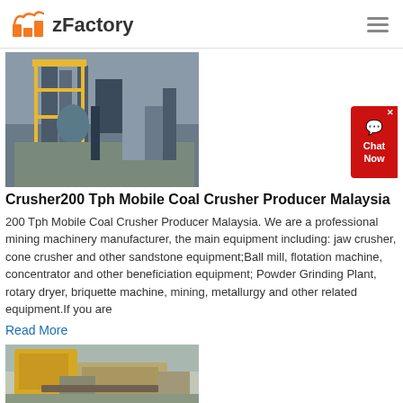zFactory
[Figure (photo): Industrial coal crusher facility with yellow metal scaffolding, conveyor belts, and large processing equipment against a grey sky.]
Crusher200 Tph Mobile Coal Crusher Producer Malaysia
200 Tph Mobile Coal Crusher Producer Malaysia. We are a professional mining machinery manufacturer, the main equipment including: jaw crusher, cone crusher and other sandstone equipment;Ball mill, flotation machine, concentrator and other beneficiation equipment; Powder Grinding Plant, rotary dryer, briquette machine, mining, metallurgy and other related equipment.If you are
Read More
[Figure (photo): Yellow mobile coal crusher machine operating outdoors with crushed rock material on the ground.]